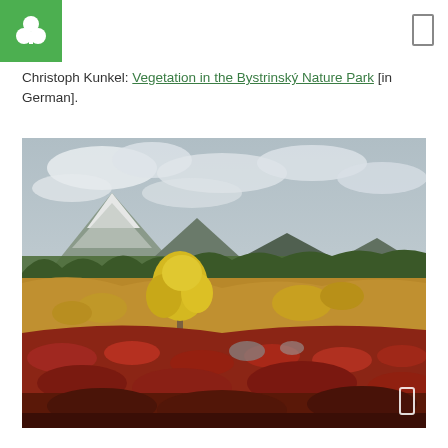Logo and navigation header
Christoph Kunkel: Vegetation in the Bystrinský Nature Park [in German].
[Figure (photo): Autumn tundra landscape with colorful red and yellow low shrubs in the foreground, yellow-leaved birch trees in the middle ground, green forested hills, and snow-capped mountains under a cloudy sky — Bystrinský Nature Park.]